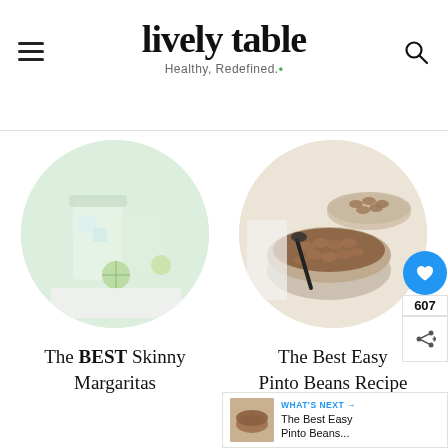lively table — Healthy, Redefined.
[Figure (photo): Circular photo of margarita drinks in glasses with lime slices and ice on a white cloth]
[Figure (photo): Circular photo of bowls of pinto beans with a black spoon on white background]
The BEST Skinny Margaritas
The Best Easy Pinto Beans Recipe
607
WHAT'S NEXT → The Best Easy Pinto Beans...